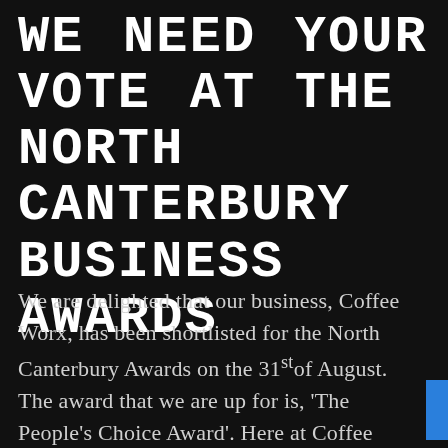WE NEED YOUR VOTE AT THE NORTH CANTERBURY BUSINESS AWARDS
We are delighted that our business, Coffee Worx, has been shortlisted for the North Canterbury Awards on the 31stof August. The award that we are up for is, 'The People's Choice Award'. Here at Coffee Worx we are passionate about what we do, both at our café's serving our fresh roasted